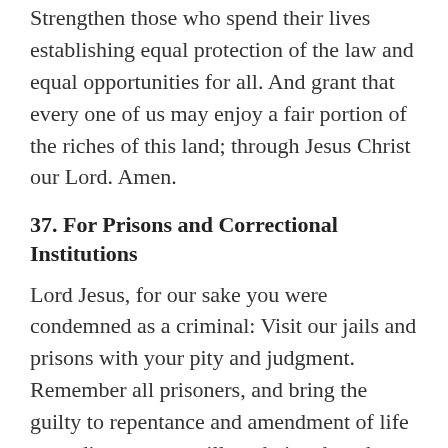Strengthen those who spend their lives establishing equal protection of the law and equal opportunities for all. And grant that every one of us may enjoy a fair portion of the riches of this land; through Jesus Christ our Lord. Amen.
37. For Prisons and Correctional Institutions
Lord Jesus, for our sake you were condemned as a criminal: Visit our jails and prisons with your pity and judgment. Remember all prisoners, and bring the guilty to repentance and amendment of life according to your will, and give them hope for their future. When any are held unjustly, bring them release; forgive us, and teach us to improve